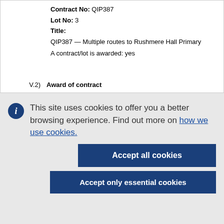Contract No: QIP387
Lot No: 3
Title: QIP387 — Multiple routes to Rushmere Hall Primary
A contract/lot is awarded: yes
V.2) Award of contract
This site uses cookies to offer you a better browsing experience. Find out more on how we use cookies.
Accept all cookies
Accept only essential cookies